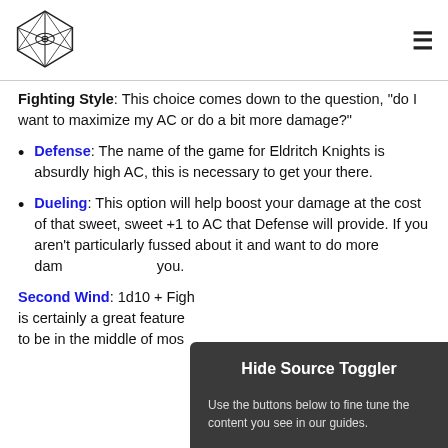[Figure (logo): Icosahedron die with eye logo]
Fighting Style: This choice comes down to the question, "do I want to maximize my AC or do a bit more damage?"
Defense: The name of the game for Eldritch Knights is absurdly high AC, this is necessary to get your there.
Dueling: This option will help boost your damage at the cost of that sweet, sweet +1 to AC that Defense will provide. If you aren't particularly fussed about it and want to do more dam... you.
Second Wind: 1d10 + Figh... is certainly a great feature... to be in the middle of mos...
[Figure (screenshot): Hide Source Toggler overlay panel with text: Use the buttons below to fine tune the content you see in our guides.]